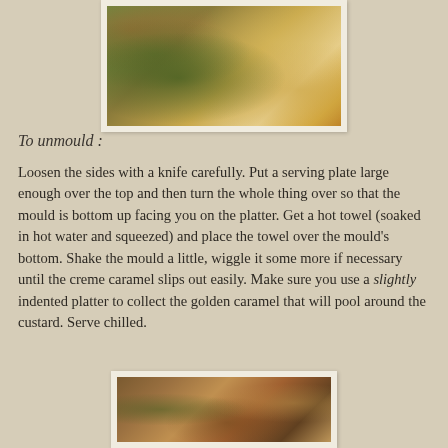[Figure (photo): Top photo showing creme caramel dessert on a decorative plate with herbs/greenery garnish, colorful woven mat in background]
To unmould :
Loosen the sides with a knife carefully. Put a serving plate large enough over the top and then turn the whole thing over so that the mould is bottom up facing you on the platter. Get a hot towel (soaked in hot water and squeezed) and place the towel over the mould's bottom. Shake the mould a little, wiggle it some more if necessary until the creme caramel slips out easily. Make sure you use a slightly indented platter to collect the golden caramel that will pool around the custard. Serve chilled.
[Figure (photo): Bottom photo showing creme caramel dessert plated with garnish]